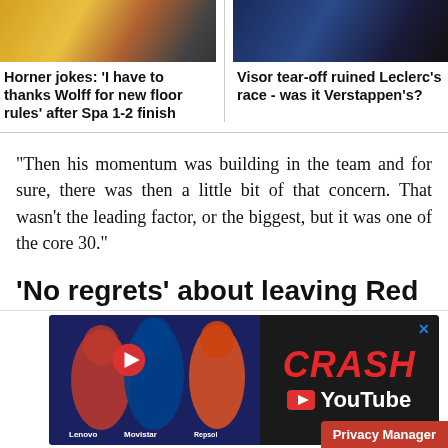[Figure (photo): Photo of a person in yellow/red racing gear (left) and photo of a person in Red Bull/Bybit racing uniform (right)]
Horner jokes: 'I have to thanks Wolff for new floor rules' after Spa 1-2 finish
Visor tear-off ruined Leclerc's race - was it Verstappen's?
“Then his momentum was building in the team and for sure, there was then a little bit of that concern. That wasn’t the leading factor, or the biggest, but it was one of the core 30.”
‘No regrets’ about leaving Red Bull after F1 2018 season
[Figure (photo): Advertisement: CRASH YouTube channel featuring three MotoGP riders in racing gear with CRASH logo and YouTube branding]